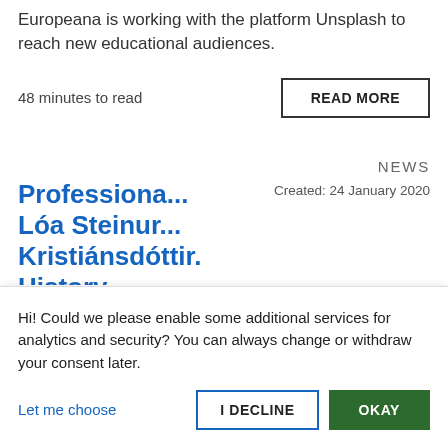Europeana is working with the platform Unsplash to reach new educational audiences.
48 minutes to read
READ MORE
NEWS
Professiona... Lóa Steinur... Kristiánsdóttir. History
Created: 24 January 2020
Hi! Could we please enable some additional services for analytics and security? You can always change or withdraw your consent later.
Let me choose
I DECLINE
OKAY